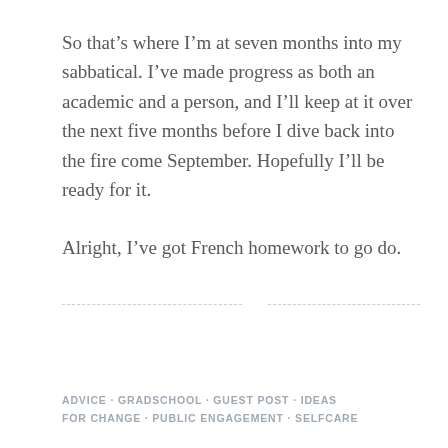So that’s where I’m at seven months into my sabbatical. I’ve made progress as both an academic and a person, and I’ll keep at it over the next five months before I dive back into the fire come September. Hopefully I’ll be ready for it.
Alright, I’ve got French homework to go do.
ADVICE · GRADSCHOOL · GUEST POST · IDEAS FOR CHANGE · PUBLIC ENGAGEMENT · SELFCARE